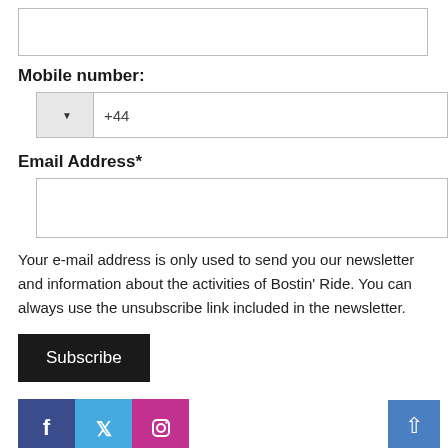[Figure (screenshot): Text input field (empty) at top of form]
Mobile number:
[Figure (screenshot): Phone number input field with country code dropdown showing +44]
Email Address*
[Figure (screenshot): Email address text input field (empty)]
Your e-mail address is only used to send you our newsletter and information about the activities of Bostin' Ride. You can always use the unsubscribe link included in the newsletter.
[Figure (screenshot): Subscribe button (dark/black background, white text)]
[Figure (screenshot): Social media icons: Facebook (dark blue), Twitter (light blue), Instagram (pink/magenta), and a blue scroll-to-top arrow button]